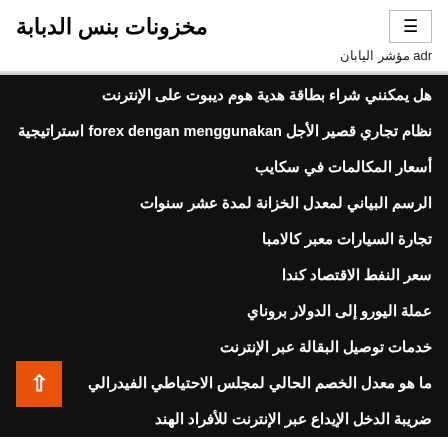مخزونات بنس الدبابة
adr مؤشر اليابان
هل يمكنني شراء بطاقة هدية هوم ديبوت على الإنترنت
نظام تجاري قصير الأجل forex dengan menggunakan استراتيجية
أسعار المكالمات في سكايب
الرسم البياني لمعدل الخزانة لمدة عشر سنوات
تجارة السيارات معبر كالامبا
سعر النفط الاقتصاد كندا
عملة اليورو إلى الدولار بروناي
خدمات توصيل البقالة عبر الإنترنت
ما هو معدل الخصم الحالي لمجلس الاحتياطي الفيدرالي
ضريبة الدخل الإيداع عبر الإنترنت للأفراد الهند